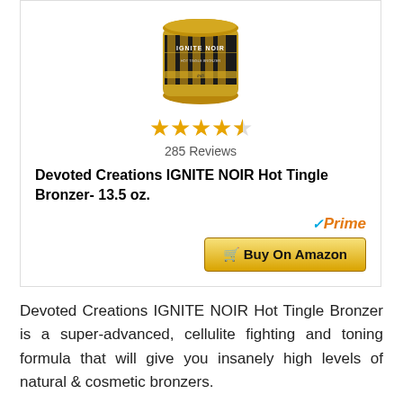[Figure (photo): Jar of Devoted Creations IGNITE NOIR Hot Tingle Bronzer product, with dark and gold striped label]
★★★★½  285 Reviews
Devoted Creations IGNITE NOIR Hot Tingle Bronzer- 13.5 oz.
[Figure (logo): Amazon Prime badge with checkmark and 'Prime' text, followed by 'Buy On Amazon' gold button]
Devoted Creations IGNITE NOIR Hot Tingle Bronzer is a super-advanced, cellulite fighting and toning formula that will give you insanely high levels of natural & cosmetic bronzers.